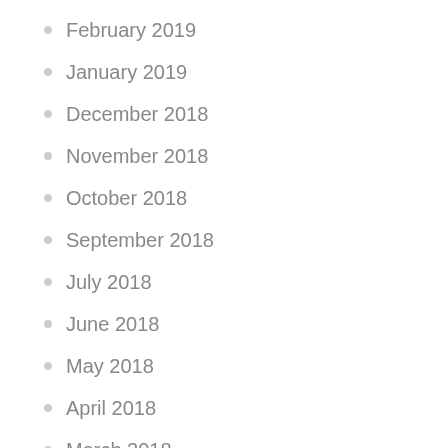February 2019
January 2019
December 2018
November 2018
October 2018
September 2018
July 2018
June 2018
May 2018
April 2018
March 2018
February 2018